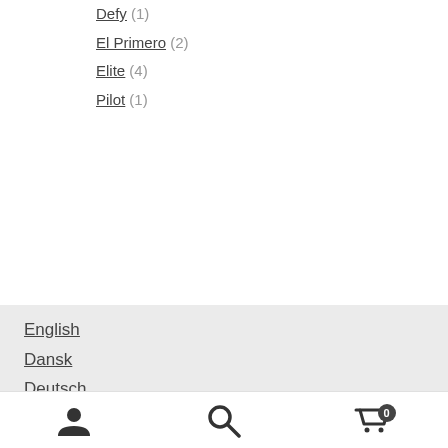Defy (1)
El Primero (2)
Elite (4)
Pilot (1)
English
Dansk
Deutsch
Español
Suomi
Français
Italiano
Nederlands
Polski
User account | Search | Cart (0)